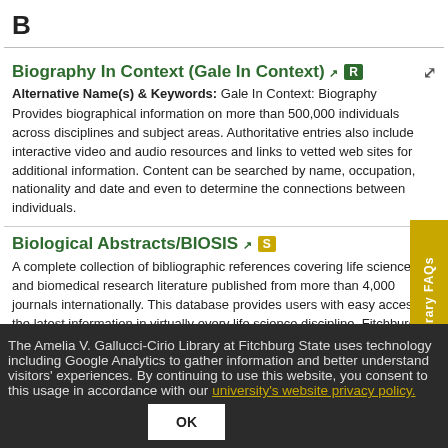B
Biography In Context (Gale In Context)
Alternative Name(s) & Keywords: Gale In Context: Biography
Provides biographical information on more than 500,000 individuals across disciplines and subject areas. Authoritative entries also include interactive video and audio resources and links to vetted web sites for additional information. Content can be searched by name, occupation, nationality and date and even to determine the connections between individuals.
Biological Abstracts/BIOSIS
A complete collection of bibliographic references covering life science and biomedical research literature published from more than 4,000 journals internationally. This database provides users with easy access to the latest information in virtually every life science discipline. Fitchburg State Coverage is 1955 to the present and most of the records include informative abstracts written by the author. It is produced by Thomson Scientific.
The Amelia V. Gallucci-Cirio Library at Fitchburg State uses technology including Google Analytics to gather information and better understand visitors' experiences. By continuing to use this website, you consent to this usage in accordance with our university's website privacy policy.